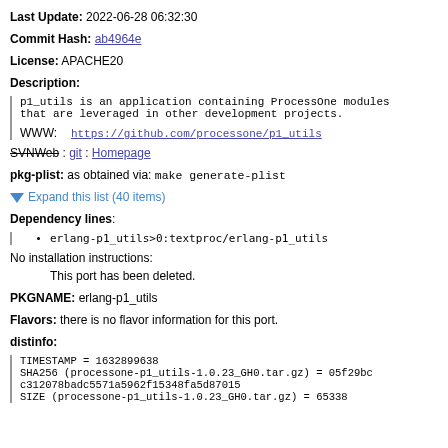Last Update: 2022-06-28 06:32:30
Commit Hash: ab4964e
License: APACHE20
Description:
p1_utils is an application containing ProcessOne modules that are leveraged in other development projects.
WWW: https://github.com/processone/p1_utils
SVNWeb : git : Homepage
pkg-plist: as obtained via: make generate-plist
Expand this list (40 items)
Dependency lines:
erlang-p1_utils>0:textproc/erlang-p1_utils
No installation instructions:
        This port has been deleted.
PKGNAME: erlang-p1_utils
Flavors: there is no flavor information for this port.
distinfo:
TIMESTAMP = 1632899638
SHA256 (processone-p1_utils-1.0.23_GH0.tar.gz) = 05f29bc c312078badc5571a5962f15348fa5d87015
SIZE (processone-p1_utils-1.0.23_GH0.tar.gz) = 65338